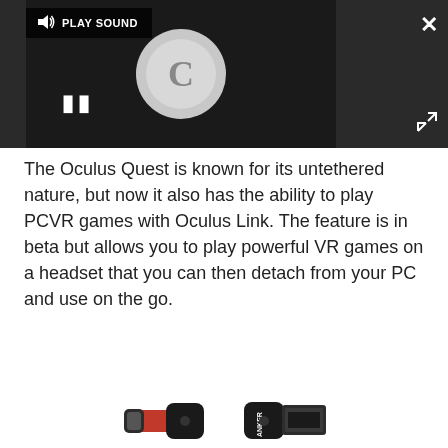[Figure (screenshot): Video player interface with dark background, loading spinner showing 'C', pause button, 'PLAY SOUND' label bar, close X button, and expand/fullscreen button]
The Oculus Quest is known for its untethered nature, but now it also has the ability to play PCVR games with Oculus Link. The feature is in beta but allows you to play powerful VR games on a headset that you can then detach from your PC and use on the go.
[Figure (photo): Anker USB-C to USB-A cable connectors shown side by side — black and red braided cable, with USB-C on left and USB-A on right, Anker branding on the USB-A connector]